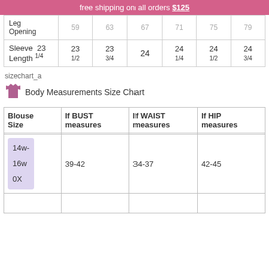free shipping on all orders $125
|  | 59 | 63 | 67 | 71 | 75 | 79 |
| --- | --- | --- | --- | --- | --- | --- |
| Leg Opening | 59 | 63 | 67 | 71 | 75 | 79 |
| Sleeve Length 1/4 | 23 1/2 | 23 3/4 | 24 | 24 1/4 | 24 1/2 | 24 3/4 |
sizechart_a
Body Measurements Size Chart
| Blouse Size | If BUST measures | If WAIST measures | If HIP measures |
| --- | --- | --- | --- |
| 14w-16w 0X | 39-42 | 34-37 | 42-45 |